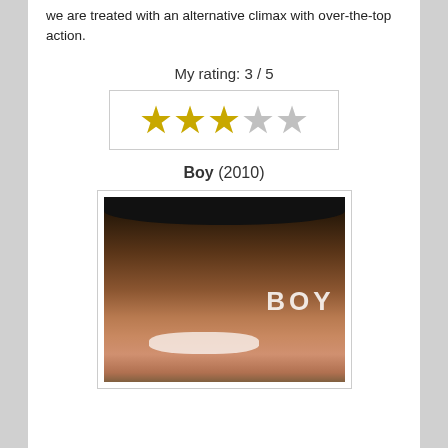we are treated with an alternative climax with over-the-top action.
My rating: 3 / 5
[Figure (other): Star rating graphic showing 3 filled gold stars and 2 empty grey stars]
Boy (2010)
[Figure (photo): Movie poster for Boy (2010) showing a smiling young boy's face with the word BOY overlaid in white text]